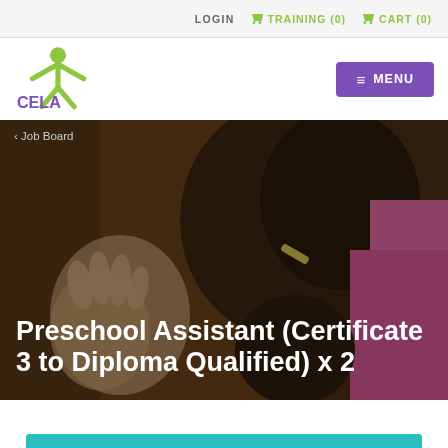LOGIN  🛒 TRAINING (0)  🛒 CART (0)
[Figure (logo): CELA logo — green stick figure with arms raised, purple CELA text]
≡ MENU
< Job Board
[Figure (photo): Child with dark hair and pink hair tie pressing hand against a dark wooden surface, wearing a pink top. Hero banner image.]
Preschool Assistant (Certificate 3 to Diploma Qualified) x 2
DETAIL